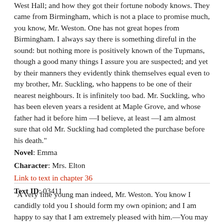West Hall; and how they got their fortune nobody knows. They came from Birmingham, which is not a place to promise much, you know, Mr. Weston. One has not great hopes from Birmingham. I always say there is something direful in the sound: but nothing more is positively known of the Tupmans, though a good many things I assure you are suspected; and yet by their manners they evidently think themselves equal even to my brother, Mr. Suckling, who happens to be one of their nearest neighbours. It is infinitely too bad. Mr. Suckling, who has been eleven years a resident at Maple Grove, and whose father had it before him —I believe, at least —I am almost sure that old Mr. Suckling had completed the purchase before his death."
Novel: Emma
Character: Mrs. Elton
Link to text in chapter 36
Text ID: 03411
"A very fine young man indeed, Mr. Weston. You know I candidly told you I should form my own opinion; and I am happy to say that I am extremely pleased with him.—You may believe me, I never compliment. I think him a very handsome